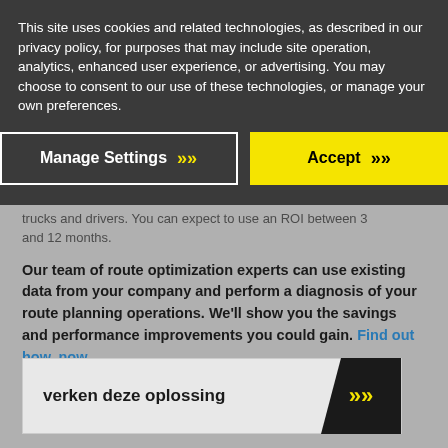This site uses cookies and related technologies, as described in our privacy policy, for purposes that may include site operation, analytics, enhanced user experience, or advertising. You may choose to consent to our use of these technologies, or manage your own preferences.
[Figure (screenshot): Cookie consent banner with two buttons: 'Manage Settings' (dark background, white border) and 'Accept' (yellow background), both with double chevron arrows.]
trucks and drivers. You can expect to use an ROI between 3 and 12 months.
Our team of route optimization experts can use existing data from your company and perform a diagnosis of your route planning operations. We'll show you the savings and performance improvements you could gain. Find out how, now.
[Figure (screenshot): Button labeled 'verken deze oplossing' with a dark diagonal section containing yellow double chevrons on the right.]